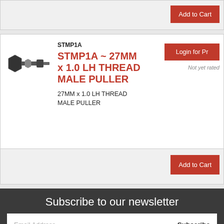[Figure (other): Add to Cart button bar at top of page]
[Figure (photo): Product photo of STMP1A male puller tool, black metal fitting]
STMP1A
STMP1A ~ 27MM x 1.0 LH THREAD MALE PULLER
27MM x 1.0 LH THREAD MALE PULLER
Login for Pr
Not yet rated
Add to Cart
Subscribe to our newsletter
Email Address
Subscribe